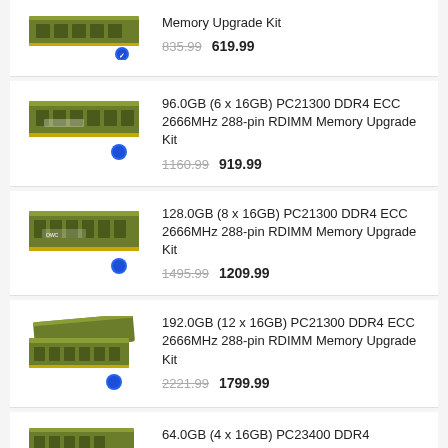[Figure (photo): RAM memory module product image with blue badge (partial, top cut off)]
Memory Upgrade Kit (partial, top cut off)
835.99  619.99
[Figure (photo): RAM memory module product image with blue badge]
96.0GB (6 x 16GB) PC21300 DDR4 ECC 2666MHz 288-pin RDIMM Memory Upgrade Kit
1160.99  919.99
[Figure (photo): RAM memory module product image with blue badge]
128.0GB (8 x 16GB) PC21300 DDR4 ECC 2666MHz 288-pin RDIMM Memory Upgrade Kit
1495.99  1209.99
[Figure (photo): Two RAM memory modules product image with blue badge]
192.0GB (12 x 16GB) PC21300 DDR4 ECC 2666MHz 288-pin RDIMM Memory Upgrade Kit
2221.99  1799.99
[Figure (photo): RAM memory modules product image (partial, bottom cut off)]
64.0GB (4 x 16GB) PC23400 DDR4 (partial, cut off)